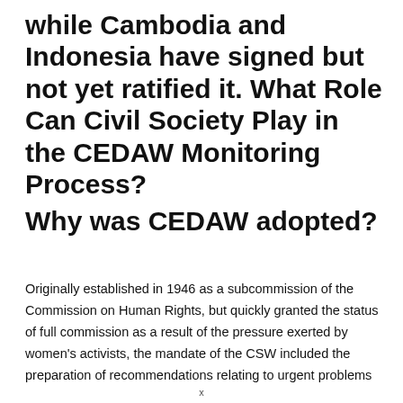while Cambodia and Indonesia have signed but not yet ratified it. What Role Can Civil Society Play in the CEDAW Monitoring Process?
Why was CEDAW adopted?
Originally established in 1946 as a subcommission of the Commission on Human Rights, but quickly granted the status of full commission as a result of the pressure exerted by women's activists, the mandate of the CSW included the preparation of recommendations relating to urgent problems
x